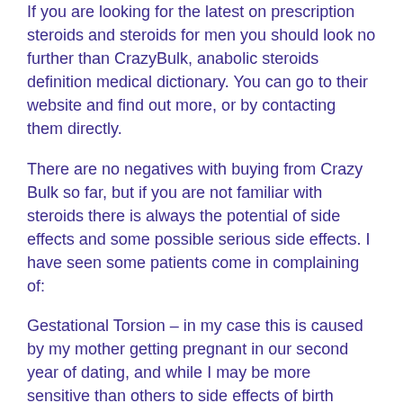If you are looking for the latest on prescription steroids and steroids for men you should look no further than CrazyBulk, anabolic steroids definition medical dictionary. You can go to their website and find out more, or by contacting them directly.
There are no negatives with buying from Crazy Bulk so far, but if you are not familiar with steroids there is always the potential of side effects and some possible serious side effects. I have seen some patients come in complaining of:
Gestational Torsion – in my case this is caused by my mother getting pregnant in our second year of dating, and while I may be more sensitive than others to side effects of birth control pills this did not put me off buying any of Crazy Bulk's products.